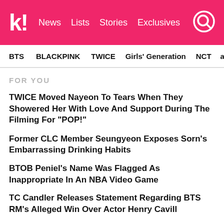koreaboo — News | Lists | Stories | Exclusives
BTS | BLACKPINK | TWICE | Girls' Generation | NCT | aespa
FOR YOU
TWICE Moved Nayeon To Tears When They Showered Her With Love And Support During The Filming For "POP!"
Former CLC Member Seungyeon Exposes Sorn's Embarrassing Drinking Habits
BTOB Peniel's Name Was Flagged As Inappropriate In An NBA Video Game
TC Candler Releases Statement Regarding BTS RM's Alleged Win Over Actor Henry Cavill
Another Supposed Picture Of BLACKPINK's Jennie And BTS's V Is Leaked — This Time Together In V's Apartment